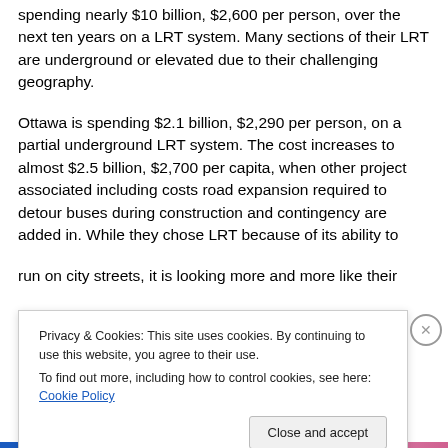spending nearly $10 billion, $2,600 per person, over the next ten years on a LRT system. Many sections of their LRT are underground or elevated due to their challenging geography.
Ottawa is spending $2.1 billion, $2,290 per person, on a partial underground LRT system. The cost increases to almost $2.5 billion, $2,700 per capita, when other project associated including costs road expansion required to detour buses during construction and contingency are added in. While they chose LRT because of its ability to run on city streets, it is looking more and more like their
Privacy & Cookies: This site uses cookies. By continuing to use this website, you agree to their use.
To find out more, including how to control cookies, see here: Cookie Policy